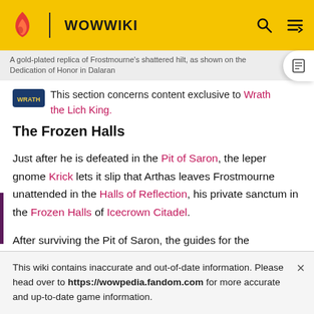WOWWIKI
A gold-plated replica of Frostmourne's shattered hilt, as shown on the Dedication of Honor in Dalaran
This section concerns content exclusive to Wrath the Lich King.
The Frozen Halls
Just after he is defeated in the Pit of Saron, the leper gnome Krick lets it slip that Arthas leaves Frostmourne unattended in the Halls of Reflection, his private sanctum in the Frozen Halls of Icecrown Citadel.
After surviving the Pit of Saron, the guides for the
This wiki contains inaccurate and out-of-date information. Please head over to https://wowpedia.fandom.com for more accurate and up-to-date game information.